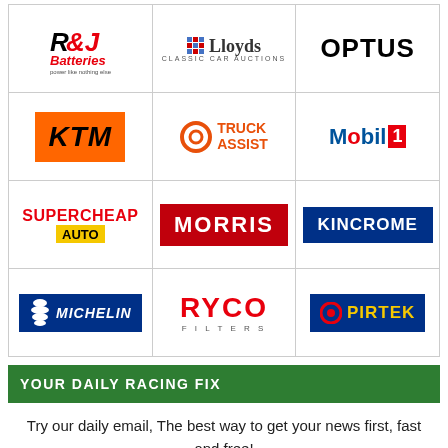[Figure (logo): Grid of 12 sponsor logos: R&J Batteries, Lloyds Classic Car Auctions, Optus, KTM, Truck Assist, Mobil 1, Supercheap Auto, Morris, Kincrome, Michelin, Ryco Filters, Pirtek]
YOUR DAILY RACING FIX
Try our daily email, The best way to get your news first, fast and free!